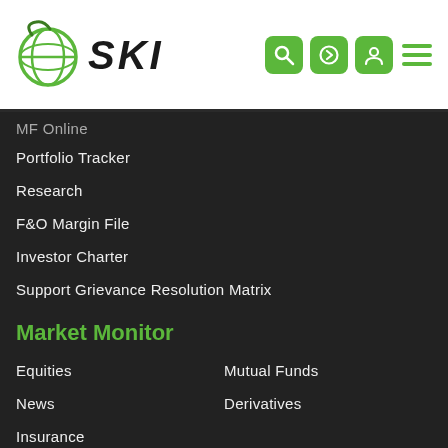[Figure (logo): SKI logo with globe icon and stylized italic SKI text]
[Figure (infographic): Navigation icons: search, login, user profile (green rounded squares), and hamburger menu (green lines)]
MF Online
Portfolio Tracker
Research
F&O Margin File
Investor Charter
Support Grievance Resolution Matrix
Market Monitor
Equities
Mutual Funds
News
Derivatives
Insurance
Other Markets
Company Info
IPO
Other Links
NSE
CDSL